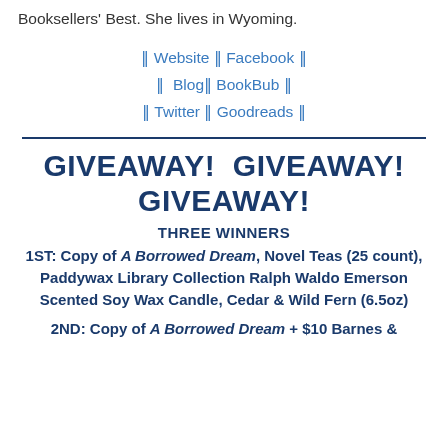Booksellers' Best. She lives in Wyoming.
|| Website || Facebook || || Blog || BookBub || || Twitter || Goodreads ||
GIVEAWAY!  GIVEAWAY! GIVEAWAY!
THREE WINNERS
1ST: Copy of A Borrowed Dream, Novel Teas (25 count), Paddywax Library Collection Ralph Waldo Emerson Scented Soy Wax Candle, Cedar & Wild Fern (6.5oz)
2ND: Copy of A Borrowed Dream + $10 Barnes &